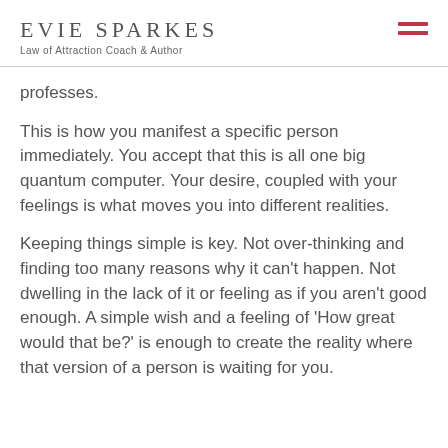EVIE SPARKES
Law of Attraction Coach & Author
professes.
This is how you manifest a specific person immediately. You accept that this is all one big quantum computer. Your desire, coupled with your feelings is what moves you into different realities.
Keeping things simple is key. Not over-thinking and finding too many reasons why it can't happen. Not dwelling in the lack of it or feeling as if you aren't good enough. A simple wish and a feeling of 'How great would that be?' is enough to create the reality where that version of a person is waiting for you.